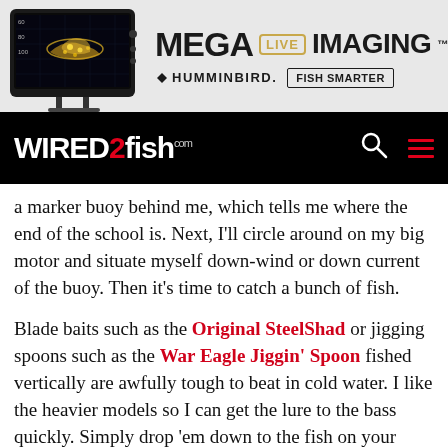[Figure (infographic): Humminbird MEGA Live Imaging advertisement banner showing a large screen TV displaying sonar fish-finding imagery, with MEGA LIVE IMAGING text, Humminbird logo and FISH SMARTER button]
[Figure (logo): Wired2Fish website navigation bar with logo, search icon, and hamburger menu icon on black background]
a marker buoy behind me, which tells me where the end of the school is. Next, I'll circle around on my big motor and situate myself down-wind or down current of the buoy. Then it's time to catch a bunch of fish.
Blade baits such as the Original SteelShad or jigging spoons such as the War Eagle Jiggin' Spoon fished vertically are awfully tough to beat in cold water. I like the heavier models so I can get the lure to the bass quickly. Simply drop 'em down to the fish on your graph and lift your rod tip a few inches before letting your lure drop on slack line. When you get a bite, the bass will either be there when you start to lift your rod tip again or it'll thump it and